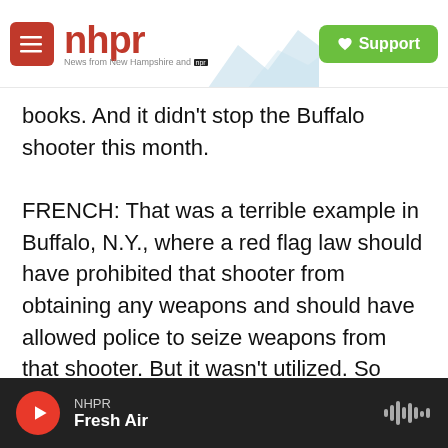nhpr — News from New Hampshire and NPR | Support
books. And it didn't stop the Buffalo shooter this month.

FRENCH: That was a terrible example in Buffalo, N.Y., where a red flag law should have prohibited that shooter from obtaining any weapons and should have allowed police to seize weapons from that shooter. But it wasn't utilized. So that's why, you know, there has been federal legislation proposed - bipartisan federal legislation, in fact, proposed as recently as 2021 that would not only provide federal grant incentives for red flag laws, but federal funding to assist in the implementation.
NHPR | Fresh Air